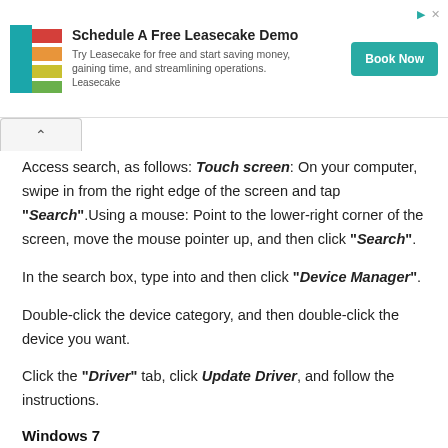[Figure (other): Advertisement banner for Leasecake with logo, text 'Schedule A Free Leasecake Demo', 'Try Leasecake for free and start saving money, gaining time, and streamlining operations. Leasecake', and a teal 'Book Now' button]
Access search, as follows: Touch screen: On your computer, swipe in from the right edge of the screen and tap “Search”.Using a mouse: Point to the lower-right corner of the screen, move the mouse pointer up, and then click “Search”.
In the search box, type into and then click “Device Manager”.
Double-click the device category, and then double-click the device you want.
Click the “Driver” tab, click Update Driver, and follow the instructions.
Windows 7